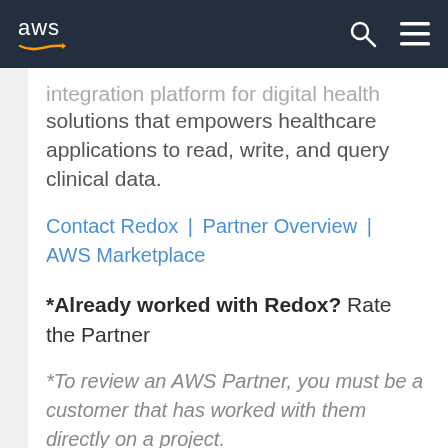AWS [logo] [search icon] [menu icon]
integration platform for digital health solutions that empowers healthcare applications to read, write, and query clinical data.
Contact Redox | Partner Overview | AWS Marketplace
*Already worked with Redox? Rate the Partner
*To review an AWS Partner, you must be a customer that has worked with them directly on a project.